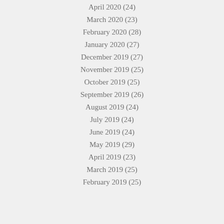April 2020 (24)
March 2020 (23)
February 2020 (28)
January 2020 (27)
December 2019 (27)
November 2019 (25)
October 2019 (25)
September 2019 (26)
August 2019 (24)
July 2019 (24)
June 2019 (24)
May 2019 (29)
April 2019 (23)
March 2019 (25)
February 2019 (25)